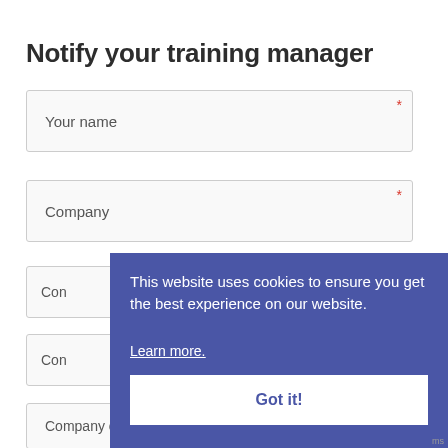Notify your training manager
Your name *
Company *
Con
Con
Company contact number
This website uses cookies to ensure you get the best experience on our website. Learn more. Got it!